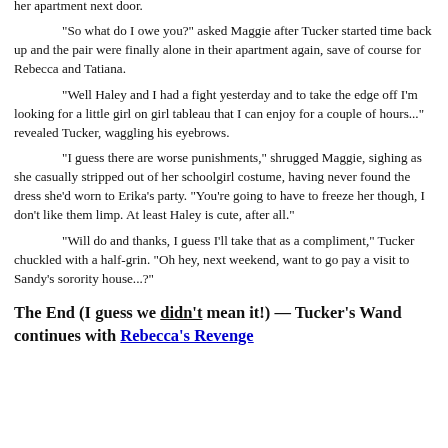her apartment next door.
"So what do I owe you?" asked Maggie after Tucker started time back up and the pair were finally alone in their apartment again, save of course for Rebecca and Tatiana.
"Well Haley and I had a fight yesterday and to take the edge off I'm looking for a little girl on girl tableau that I can enjoy for a couple of hours..." revealed Tucker, waggling his eyebrows.
"I guess there are worse punishments," shrugged Maggie, sighing as she casually stripped out of her schoolgirl costume, having never found the dress she'd worn to Erika's party. "You're going to have to freeze her though, I don't like them limp. At least Haley is cute, after all."
"Will do and thanks, I guess I'll take that as a compliment," Tucker chuckled with a half-grin. "Oh hey, next weekend, want to go pay a visit to Sandy's sorority house...?"
The End (I guess we didn't mean it!) — Tucker's Wand continues with Rebecca's Revenge